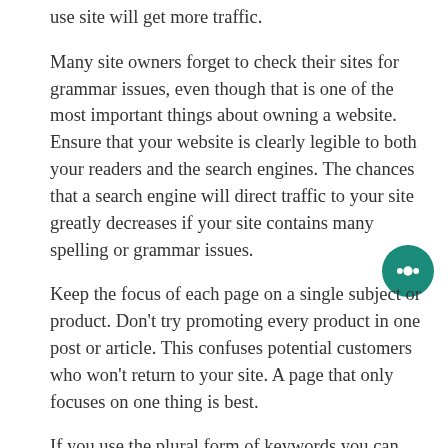use site will get more traffic.
Many site owners forget to check their sites for grammar issues, even though that is one of the most important things about owning a website. Ensure that your website is clearly legible to both your readers and the search engines. The chances that a search engine will direct traffic to your site greatly decreases if your site contains many spelling or grammar issues.
Keep the focus of each page on a single subject or product. Don’t try promoting every product in one post or article. This confuses potential customers who won’t return to your site. A page that only focuses on one thing is best.
If you use the plural form of keywords you can increase SEO. Keyword stemming is used by many search engines. If your primary keyword were “parent”, a stemming search engine would not link you to the results for searches based around “parents” or